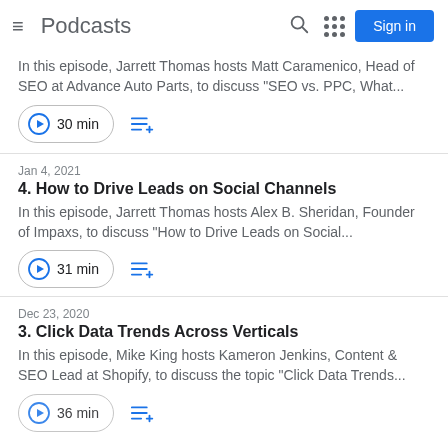Podcasts — Sign in
In this episode, Jarrett Thomas hosts Matt Caramenico, Head of SEO at Advance Auto Parts, to discuss "SEO vs. PPC, What...
30 min
Jan 4, 2021
4. How to Drive Leads on Social Channels
In this episode, Jarrett Thomas hosts Alex B. Sheridan, Founder of Impaxs, to discuss "How to Drive Leads on Social...
31 min
Dec 23, 2020
3. Click Data Trends Across Verticals
In this episode, Mike King hosts Kameron Jenkins, Content & SEO Lead at Shopify, to discuss the topic "Click Data Trends...
36 min